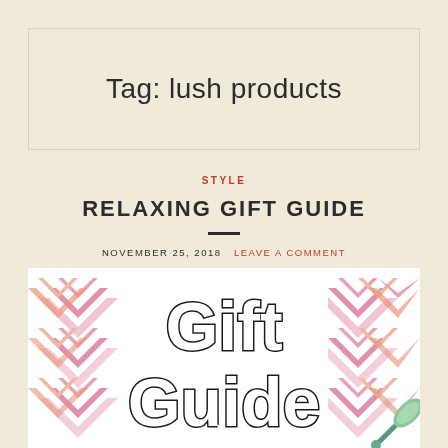Tag: lush products
STYLE
RELAXING GIFT GUIDE
NOVEMBER 25, 2018   LEAVE A COMMENT
[Figure (illustration): Gift Guide graphic with geometric chevron/diamond pattern background in pink and peach tones, with large outlined 'Gift Guide' text and a jade roller in bottom right corner]